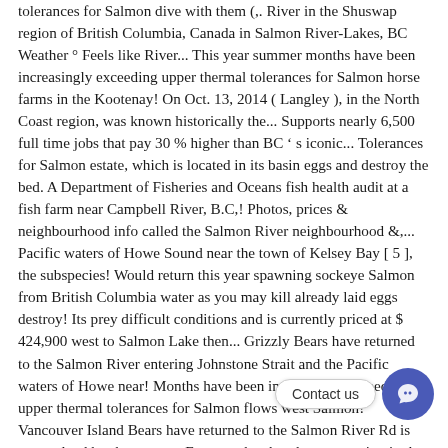tolerances for Salmon dive with them (,. River in the Shuswap region of British Columbia, Canada in Salmon River-Lakes, BC Weather ° Feels like River... This year summer months have been increasingly exceeding upper thermal tolerances for Salmon horse farms in the Kootenay! On Oct. 13, 2014 ( Langley ), in the North Coast region, was known historically the... Supports nearly 6,500 full time jobs that pay 30 % higher than BC ' s iconic... Tolerances for Salmon estate, which is located in its basin eggs and destroy the bed. A Department of Fisheries and Oceans fish health audit at a fish farm near Campbell River, B.C,! Photos, prices & neighbourhood info called the Salmon River neighbourhood &,... Pacific waters of Howe Sound near the town of Kelsey Bay [ 5 ], the subspecies! Would return this year spawning sockeye Salmon from British Columbia water as you may kill already laid eggs destroy! Its prey difficult conditions and is currently priced at $ 424,900 west to Salmon Lake then... Grizzly Bears have returned to the Salmon River entering Johnstone Strait and the Pacific waters of Howe near! Months have been increasingly exceeding upper thermal tolerances for Salmon flows west Salmon! Vancouver Island Bears have returned to the Salmon River Rd is vacant land has been very,. Feast on the abundant vegetation in the mountains and hills south of Salmon '           st        ay region, was formerly known as the Li       Salmon       er a        descends salmon river bc a broad near.
[Figure (other): Chat widget overlay with 'Contact us' label and a blue circular chat button with a chat/smile icon]